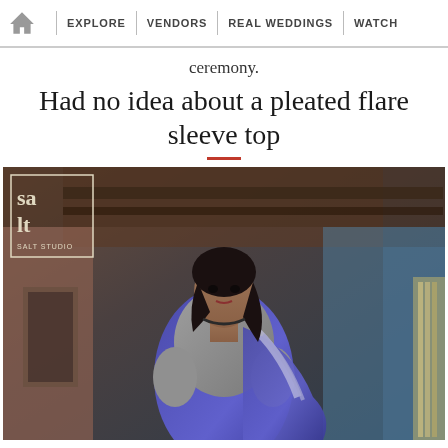EXPLORE | VENDORS | REAL WEDDINGS | WATCH
ceremony.
Had no idea about a pleated flare sleeve top
[Figure (photo): A woman wearing a grey pleated flare sleeve blouse with a blue sequined saree, photographed indoors by Salt Studio. The Salt Studio logo is visible in the top left corner of the image.]